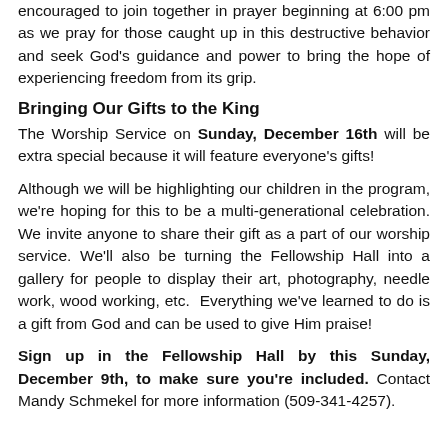encouraged to join together in prayer beginning at 6:00 pm as we pray for those caught up in this destructive behavior and seek God's guidance and power to bring the hope of experiencing freedom from its grip.
Bringing Our Gifts to the King
The Worship Service on Sunday, December 16th will be extra special because it will feature everyone's gifts!
Although we will be highlighting our children in the program, we're hoping for this to be a multi-generational celebration. We invite anyone to share their gift as a part of our worship service. We'll also be turning the Fellowship Hall into a gallery for people to display their art, photography, needle work, wood working, etc. Everything we've learned to do is a gift from God and can be used to give Him praise!
Sign up in the Fellowship Hall by this Sunday, December 9th, to make sure you're included. Contact Mandy Schmekel for more information (509-341-4257).